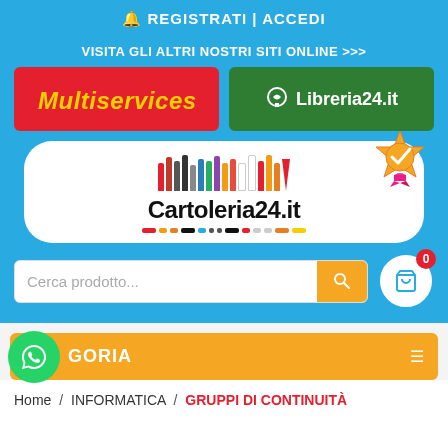🔔 REGISTRATI | ACCEDI
VISITA GLI ALTRI NOSTRI SITI ONLINE >>>
[Figure (logo): Multiservices logo - red background with yellow italic text]
[Figure (logo): Libreria24.it logo - dark green background with white icon and text]
[Figure (logo): Cartoleria24.it logo - white rounded box with colored pencils illustration, site name, and gold badge with checkmark]
Cerca prodotto...
0
GORIA
Home / INFORMATICA / GRUPPI DI CONTINUITÀ